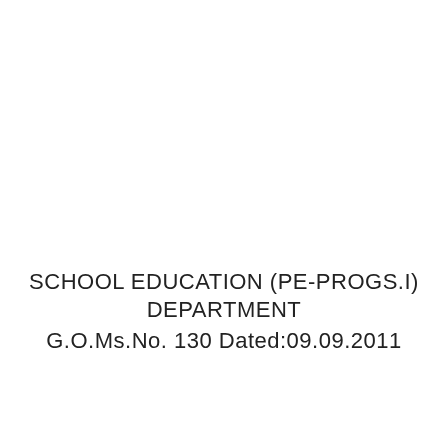SCHOOL EDUCATION (PE-PROGS.I) DEPARTMENT G.O.Ms.No. 130 Dated:09.09.2011